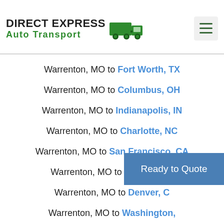DIRECT EXPRESS Auto Transport
Warrenton, MO to Fort Worth, TX
Warrenton, MO to Columbus, OH
Warrenton, MO to Indianapolis, IN
Warrenton, MO to Charlotte, NC
Warrenton, MO to San Francisco, CA
Warrenton, MO to Seattle, WA
Warrenton, MO to Denver, CO
Warrenton, MO to Washington, DC
Warrenton, MO to Nashville, TN